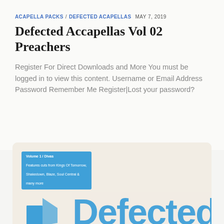ACAPELLA PACKS / DEFECTED ACAPELLAS  MAY 7, 2019
Defected Accapellas Vol 02 Preachers
Register For Direct Downloads and More You must be logged in to view this content. Username or Email Address Password Remember Me Register|Lost your password?
[Figure (photo): Album cover image showing a blue label reading 'Volume 1 / Divas - Features cuts from Kings Of Tomorrow, Shakedown, Blaze, Soul Central & many more' on a cream/beige background, with 'Defected' text in large blue letters at the bottom right and a Defected Records logo mark at the bottom left.]